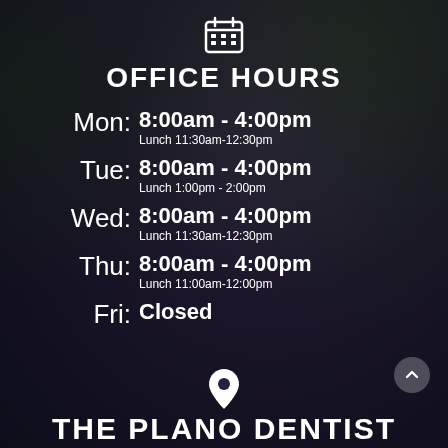OFFICE HOURS
Mon: 8:00am - 4:00pm, Lunch 11:30am-12:30pm
Tue: 8:00am - 4:00pm, Lunch 1:00pm - 2:00pm
Wed: 8:00am - 4:00pm, Lunch 11:30am-12:30pm
Thu: 8:00am - 4:00pm, Lunch 11:00am-12:00pm
Fri: Closed
THE PLANO DENTIST